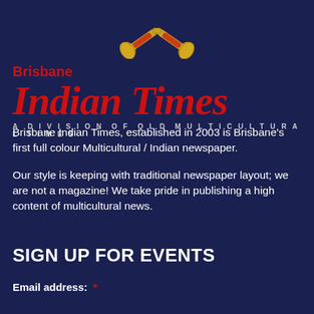[Figure (logo): Two crossed golden bugles/trumpets forming an X shape, used as the logo icon for Brisbane Indian Times]
Brisbane Indian Times – A Division of QLD Multicultural Times
Brisbane Indian Times, established in 2003 is Brisbane's first full colour Multicultural / Indian newspaper.
Our style is keeping with traditional newspaper layout; we are not a magazine! We take pride in publishing a high content of multicultural news.
SIGN UP FOR EVENTS
Email address: *